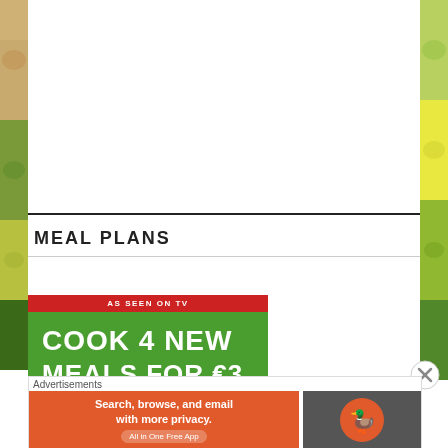[Figure (photo): Left edge food photo strip showing colorful food items]
[Figure (photo): Right edge food photo strip showing green vegetables/salad]
MEAL PLANS
[Figure (infographic): Green advertisement banner: AS SEEN ON TV / COOK 4 NEW MEALS FOR £3]
Advertisements
[Figure (infographic): DuckDuckGo advertisement: Search, browse, and email with more privacy. All in One Free App]